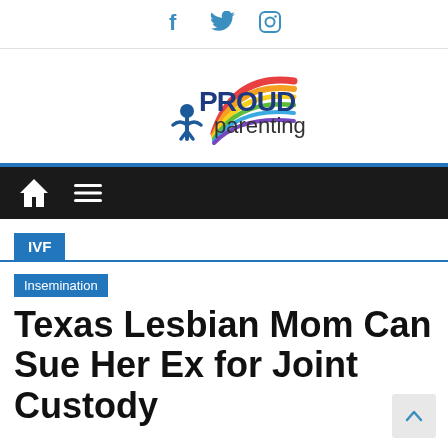Social icons: Facebook, Twitter, Instagram
[Figure (logo): Proud Parenting logo with rainbow arc and figure with arms raised]
[Figure (screenshot): Navigation bar with home icon and hamburger menu icon on dark background]
IVF
Insemination
Texas Lesbian Mom Can Sue Her Ex for Joint Custody